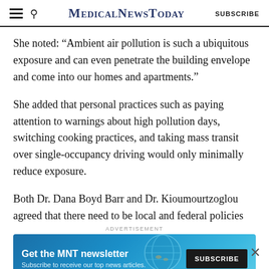MedicalNewsToday | SUBSCRIBE
She noted: “Ambient air pollution is such a ubiquitous exposure and can even penetrate the building envelope and come into our homes and apartments.”
She added that personal practices such as paying attention to warnings about high pollution days, switching cooking practices, and taking mass transit over single-occupancy driving would only minimally reduce exposure.
Both Dr. Dana Boyd Barr and Dr. Kioumourtzoglou agreed that there need to be local and federal policies
[Figure (infographic): Advertisement banner for MNT newsletter: 'Get the MNT newsletter. Subscribe to receive our top news articles.' with a SUBSCRIBE button, overlaid on a teal/blue globe graphic.]